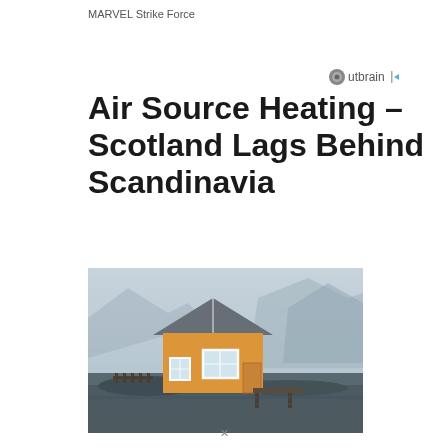MARVEL Strike Force
outbrain
Air Source Heating – Scotland Lags Behind Scandinavia
[Figure (photo): A yellow wooden Scandinavian-style house photographed against misty mountains and water. The house has a distinctive Nordic appearance with white window frames and a dark pitched roof, situated on rocky ground near water.]